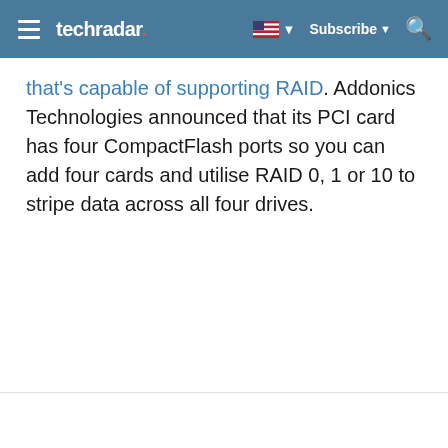techradar
that's capable of supporting RAID. Addonics Technologies announced that its PCI card has four CompactFlash ports so you can add four cards and utilise RAID 0, 1 or 10 to stripe data across all four drives.